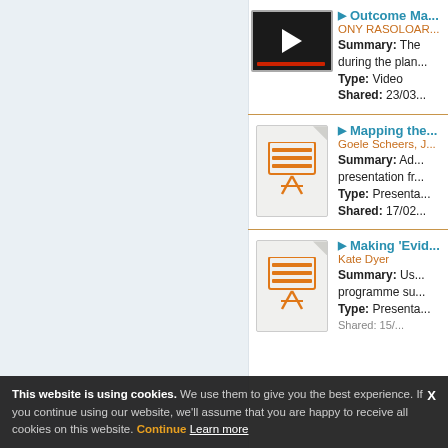[Figure (screenshot): Video thumbnail with play button for 'Outcome Ma...' by ONY RASOLOAR...]
Outcome Ma... | ONY RASOLOAR... | Summary: The... during the plan... | Type: Video | Shared: 23/03...
[Figure (screenshot): Presentation document thumbnail for 'Mapping the...' by Goele Scheers, J...]
Mapping the... | Goele Scheers, J... | Summary: Ad... presentation fr... | Type: Presenta... | Shared: 17/02...
[Figure (screenshot): Presentation document thumbnail for 'Making Evid...' by Kate Dyer]
Making 'Evid... | Kate Dyer | Summary: Us... programme su... | Type: Presenta... | Shared: 15/...
This website is using cookies. We use them to give you the best experience. If you continue using our website, we'll assume that you are happy to receive all cookies on this website. Continue  Learn more